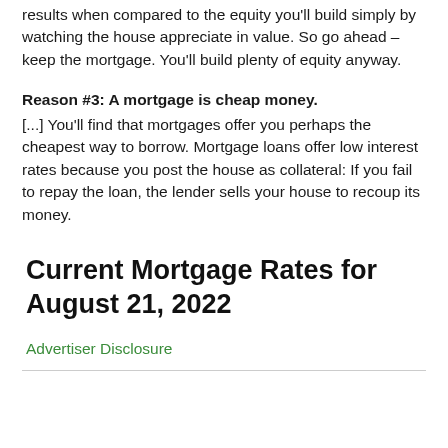results when compared to the equity you'll build simply by watching the house appreciate in value. So go ahead – keep the mortgage. You'll build plenty of equity anyway.
Reason #3: A mortgage is cheap money.
[...] You'll find that mortgages offer you perhaps the cheapest way to borrow. Mortgage loans offer low interest rates because you post the house as collateral: If you fail to repay the loan, the lender sells your house to recoup its money.
Current Mortgage Rates for August 21, 2022
Advertiser Disclosure